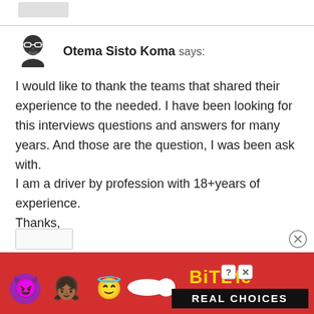[Figure (illustration): User avatar icon showing a man with glasses and beard, black and white illustration]
Otema Sisto Koma says:
I would like to thank the teams that shared their experience to the needed. I have been looking for this interviews questions and answers for many years. And those are the question, I was been ask with.
I am a driver by profession with 18+years of experience.
Thanks,
[Figure (illustration): Advertisement banner for BitLife game app with emoji characters, logo, and REAL CHOICES text on red background]